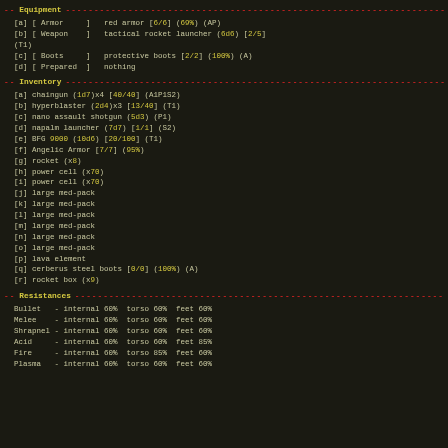-- Equipment --
[a] [ Armor     ]   red armor [6/6] (69%) (AP)
[b] [ Weapon    ]   tactical rocket launcher (6d6) [2/5] (T1)
[c] [ Boots     ]   protective boots [2/2] (100%) (A)
[d] [ Prepared  ]   nothing
-- Inventory --
[a] chaingun (1d7)x4 [40/40] (A1P1S2)
[b] hyperblaster (2d4)x3 [13/40] (T1)
[c] nano assault shotgun (5d3) (P1)
[d] napalm launcher (7d7) [1/1] (S2)
[e] BFG 9000 (10d6) [20/100] (T1)
[f] Angelic Armor [7/7] (95%)
[g] rocket (x8)
[h] power cell (x70)
[i] power cell (x70)
[j] large med-pack
[k] large med-pack
[l] large med-pack
[m] large med-pack
[n] large med-pack
[o] large med-pack
[p] lava element
[q] cerberus steel boots [0/0] (100%) (A)
[r] rocket box (x9)
-- Resistances --
Bullet   - internal 60%  torso 60%  feet 60%
Melee    - internal 60%  torso 60%  feet 60%
Shrapnel - internal 60%  torso 60%  feet 60%
Acid     - internal 60%  torso 60%  feet 85%
Fire     - internal 60%  torso 85%  feet 60%
Plasma   - internal 60%  torso 60%  feet 60%